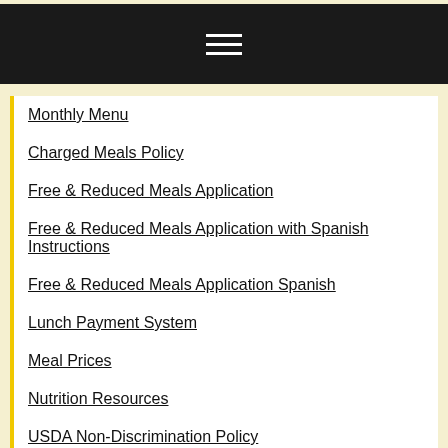≡
Monthly Menu
Charged Meals Policy
Free & Reduced Meals Application
Free & Reduced Meals Application with Spanish Instructions
Free & Reduced Meals Application Spanish
Lunch Payment System
Meal Prices
Nutrition Resources
USDA Non-Discrimination Policy
Wellness Policy